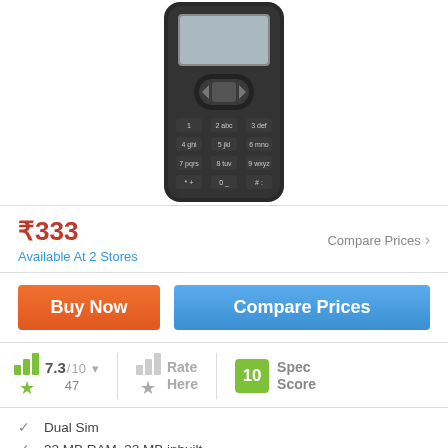[Figure (photo): Front view of a basic black feature phone with numeric keypad, navigation buttons, and small screen]
₹333
Available At 2 Stores
Compare Prices ›
Buy Now
Compare Prices
7.3/10  47
Rate Here
10 Spec Score
Dual Sim
32 MB RAM, 32 MB inbuilt
1300 mAh Battery
1.8 inches, 128 x 160 px Display
0.3 MP Rear Camera
Memory Card Supported, upto 8 GB
No FM Radio